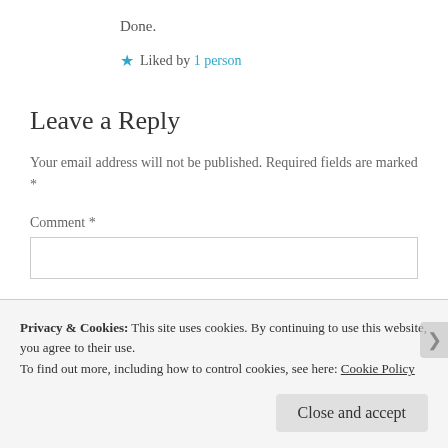Done.
★ Liked by 1 person
Leave a Reply
Your email address will not be published. Required fields are marked *
Comment *
Privacy & Cookies: This site uses cookies. By continuing to use this website, you agree to their use.
To find out more, including how to control cookies, see here: Cookie Policy
Close and accept